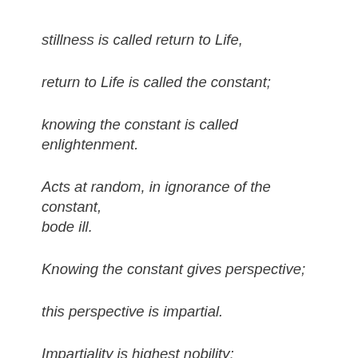stillness is called return to Life,
return to Life is called the constant;
knowing the constant is called enlightenment.
Acts at random, in ignorance of the constant, bode ill.
Knowing the constant gives perspective;
this perspective is impartial.
Impartiality is highest nobility;